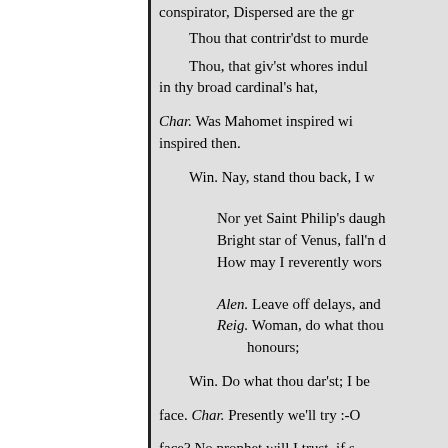conspirator, Dispersed are the gr[eatest]
Thou that contrir'dst to murde[r]
Thou, that giv'st whores indul[gences]
in thy broad cardinal's hat,
Char. Was Mahomet inspired wi[th]
inspired then.
Win. Nay, stand thou back, I w[ill]
Nor yet Saint Philip's daugh[ter]
Bright star of Venus, fall'n d[own]
How may I reverently wors[hip]
Alen. Leave off delays, and [let]
Reig. Woman, do what thou
honours;
Win. Do what thou dar'st; I be[seech]
face. Char. Presently we'll try :-O[ur]
face? No prophet will I trust, if s[he]
London. Hill before the Tower.